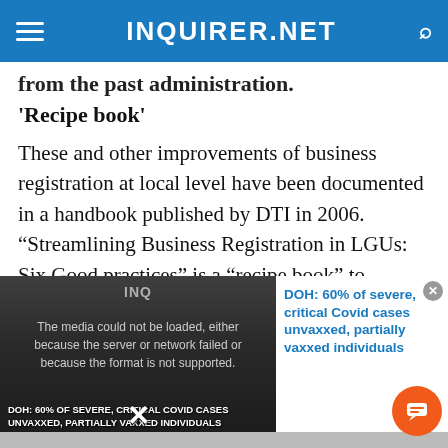INQUIRER.NET
...from the past administration.
'Recipe book'
These and other improvements of business registration at local level have been documented in a handbook published by DTI in 2006. “Streamlining Business Registration in LGUs: Six Good practices” is a “recipe book” to motivate local governments to streamline their respective
[Figure (screenshot): Media player overlay showing a video thumbnail with text 'DOH: 60% OF SEVERE, CRITICAL COVID CASES UNVAXXED, PARTIALLY VAXXED INDIVIDUALS' and an error message 'The media could not be loaded, either because the server or network failed or because the format is not supported.' with a side panel showing related article title and orange chat button.]